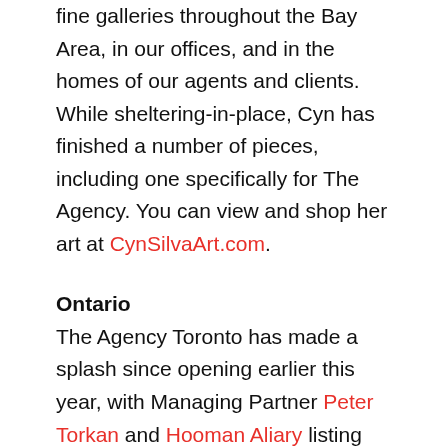fine galleries throughout the Bay Area, in our offices, and in the homes of our agents and clients. While sheltering-in-place, Cyn has finished a number of pieces, including one specifically for The Agency. You can view and shop her art at CynSilvaArt.com.
Ontario
The Agency Toronto has made a splash since opening earlier this year, with Managing Partner Peter Torkan and Hooman Aliary listing over $28M in real estate this month alone. "Our current portfolio shows we've arrived, and we're just getting started," Peter says.